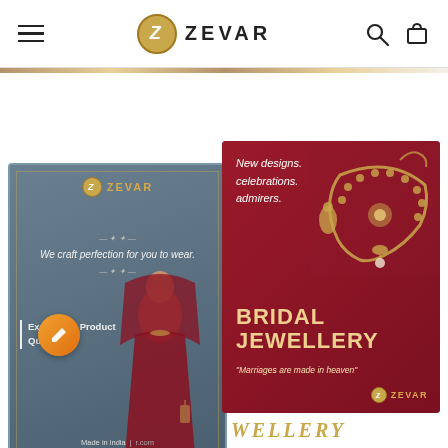ZEVAR
[Figure (illustration): Two overlapping promotional cards for Zevar jewelry brand. Left card: dark teal/slate background with Zevar logo, text 'We craft perfection for you to wear.' and 'Excellence Product Quality', image of Indian bride in red bridal outfit, footer 'Made in india | [website].com'. Right card: deep red/crimson background with gold necklace and earrings jewelry photo, text 'New designs. celebrations. admirers.', large text 'BRIDAL JEWELLERY', italic quote 'Marriages are made in heaven', Zevar logo bottom right.]
BRIDAL JEWELLERY